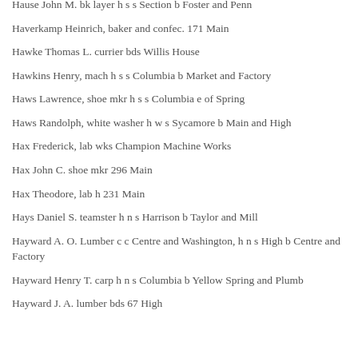Hause John M. bk layer h s s Section b Foster and Penn
Haverkamp Heinrich, baker and confec. 171 Main
Hawke Thomas L. currier bds Willis House
Hawkins Henry, mach h s s Columbia b Market and Factory
Haws Lawrence, shoe mkr h s s Columbia e of Spring
Haws Randolph, white washer h w s Sycamore b Main and High
Hax Frederick, lab wks Champion Machine Works
Hax John C. shoe mkr 296 Main
Hax Theodore, lab h 231 Main
Hays Daniel S. teamster h n s Harrison b Taylor and Mill
Hayward A. O. Lumber c c Centre and Washington, h n s High b Centre and Factory
Hayward Henry T. carp h n s Columbia b Yellow Spring and Plumb
Hayward J. A. lumber bds 67 High